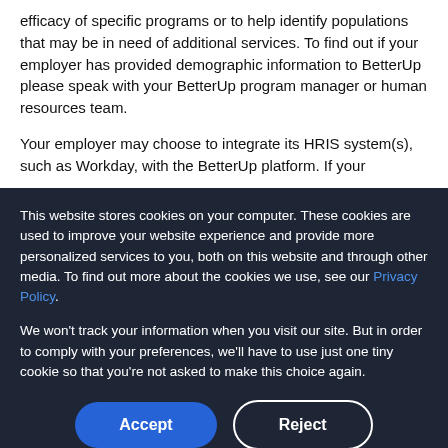efficacy of specific programs or to help identify populations that may be in need of additional services. To find out if your employer has provided demographic information to BetterUp please speak with your BetterUp program manager or human resources team.
Your employer may choose to integrate its HRIS system(s), such as Workday, with the BetterUp platform. If your
This website stores cookies on your computer. These cookies are used to improve your website experience and provide more personalized services to you, both on this website and through other media. To find out more about the cookies we use, see our Privacy Policy.
We won't track your information when you visit our site. But in order to comply with your preferences, we'll have to use just one tiny cookie so that you're not asked to make this choice again.
Accept
Reject